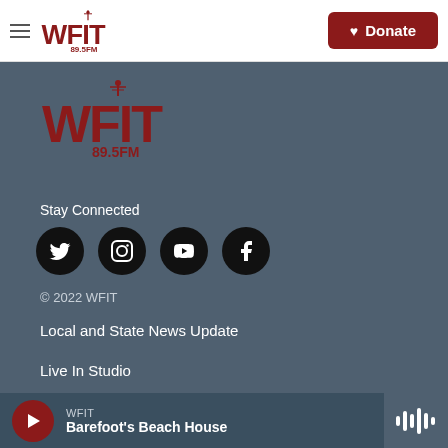WFIT 89.5FM — Donate
[Figure (logo): WFIT 89.5FM radio station logo with antenna tower icon in dark red/maroon, displayed large in the footer area]
Stay Connected
[Figure (infographic): Four social media icons (Twitter, Instagram, YouTube, Facebook) as white icons on black circular backgrounds]
© 2022 WFIT
Local and State News Update
Live In Studio
Podcasts
WFIT Barefoot's Beach House